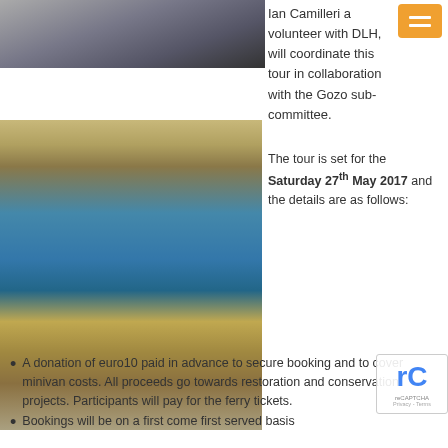[Figure (photo): Top portion of a rocky cliff or stone wall photo, cropped at top]
[Figure (photo): Photo of a natural rock arch (Azure Window or similar) with blue sea visible through the arch, rocky limestone formations]
Ian Camilleri a volunteer with DLH, will coordinate this tour in collaboration with the Gozo sub-committee.
The tour is set for the Saturday 27th May 2017 and the details are as follows:
A donation of euro10 paid in advance to secure booking and to cover minivan costs. All proceeds go towards restoration and conservation projects. Participants will pay for the ferry tickets.
Bookings will be on a first come first served basis (maximum 30 participants).